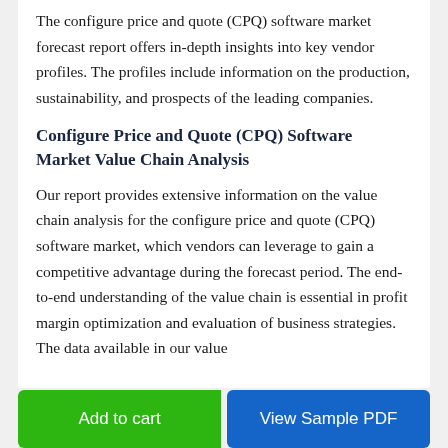The configure price and quote (CPQ) software market forecast report offers in-depth insights into key vendor profiles. The profiles include information on the production, sustainability, and prospects of the leading companies.
Configure Price and Quote (CPQ) Software Market Value Chain Analysis
Our report provides extensive information on the value chain analysis for the configure price and quote (CPQ) software market, which vendors can leverage to gain a competitive advantage during the forecast period. The end-to-end understanding of the value chain is essential in profit margin optimization and evaluation of business strategies. The data available in our value